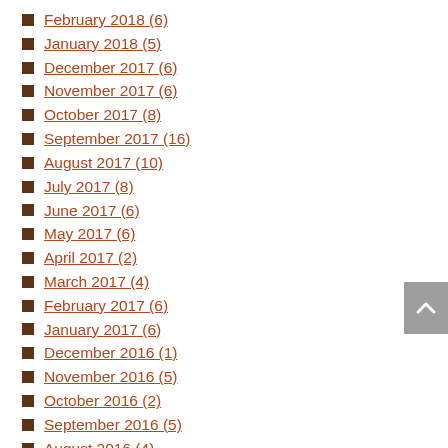February 2018 (6)
January 2018 (5)
December 2017 (6)
November 2017 (6)
October 2017 (8)
September 2017 (16)
August 2017 (10)
July 2017 (8)
June 2017 (6)
May 2017 (6)
April 2017 (2)
March 2017 (4)
February 2017 (6)
January 2017 (6)
December 2016 (1)
November 2016 (5)
October 2016 (2)
September 2016 (5)
August 2016 (4)